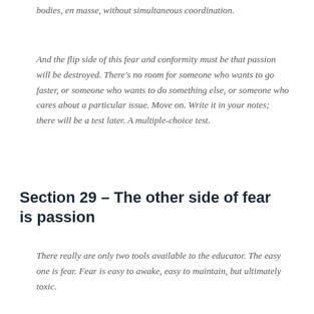bodies, en masse, without simultaneous coordination.
And the flip side of this fear and conformity must be that passion will be destroyed.  There's no room for someone who wants to go faster, or someone who wants to do something else, or someone who cares about a particular issue.  Move on.  Write it in your notes; there will be a test later.  A multiple-choice test.
Section 29 – The other side of fear is passion
There really are only two tools available to the educator.  The easy one is fear.  Fear is easy to awake, easy to maintain, but ultimately toxic.